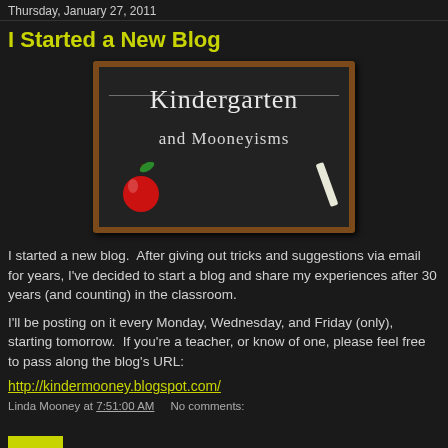Thursday, January 27, 2011
I Started a New Blog
[Figure (illustration): Chalkboard image with 'Kindergarten and Mooneyisms' written in chalk-style text, with a red apple and chalk stick illustration]
I started a new blog.  After giving out tricks and suggestions via email for years, I've decided to start a blog and share my experiences after 30 years (and counting) in the classroom.
I'll be posting on it every Monday, Wednesday, and Friday (only), starting tomorrow.  If you're a teacher, or know of one, please feel free to pass along the blog's URL:
http://kindermooney.blogspot.com/
Linda Mooney at 7:51:00 AM    No comments: